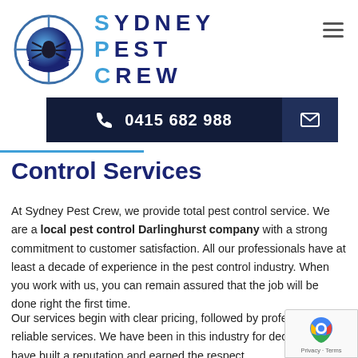[Figure (logo): Sydney Pest Crew logo with spider crosshair icon and blue text]
☰
📞 0415 682 988  ✉
Control Services
At Sydney Pest Crew, we provide total pest control service. We are a local pest control Darlinghurst company with a strong commitment to customer satisfaction. All our professionals have at least a decade of experience in the pest control industry. When you work with us, you can remain assured that the job will be done right the first time.
Our services begin with clear pricing, followed by pr and reliable services. We have been in this industry f decades and have built a reputation and earned the respect